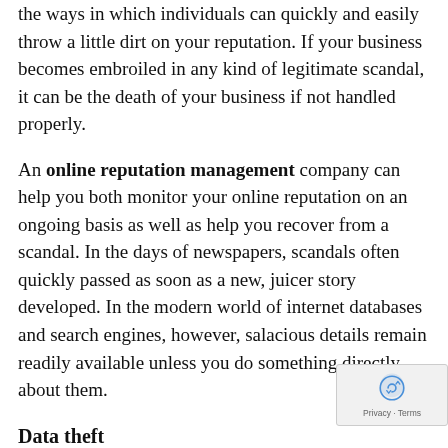the ways in which individuals can quickly and easily throw a little dirt on your reputation. If your business becomes embroiled in any kind of legitimate scandal, it can be the death of your business if not handled properly.
An online reputation management company can help you both monitor your online reputation on an ongoing basis as well as help you recover from a scandal. In the days of newspapers, scandals often quickly passed as soon as a new, juicer story developed. In the modern world of internet databases and search engines, however, salacious details remain readily available unless you do something directly about them.
Data theft
No matter what kind of business you run, today's businesses must worry about protecting far more than their own assets, they must also protect their customer's data. businesses also need to worry about protecting their own